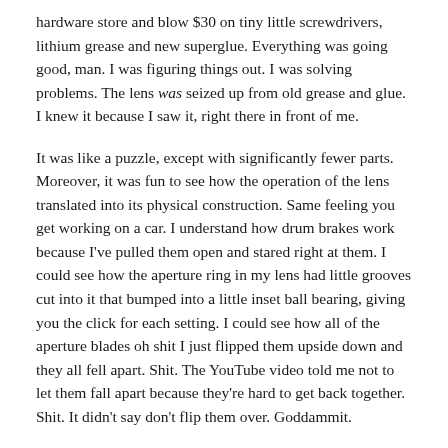hardware store and blow $30 on tiny little screwdrivers, lithium grease and new superglue. Everything was going good, man. I was figuring things out. I was solving problems. The lens was seized up from old grease and glue. I knew it because I saw it, right there in front of me.
It was like a puzzle, except with significantly fewer parts. Moreover, it was fun to see how the operation of the lens translated into its physical construction. Same feeling you get working on a car. I understand how drum brakes work because I've pulled them open and stared right at them. I could see how the aperture ring in my lens had little grooves cut into it that bumped into a little inset ball bearing, giving you the click for each setting. I could see how all of the aperture blades oh shit I just flipped them upside down and they all fell apart. Shit. The YouTube video told me not to let them fall apart because they're hard to get back together. Shit. It didn't say don't flip them over. Goddammit.
The Only Thing You Can Count On With Old Parts Is That